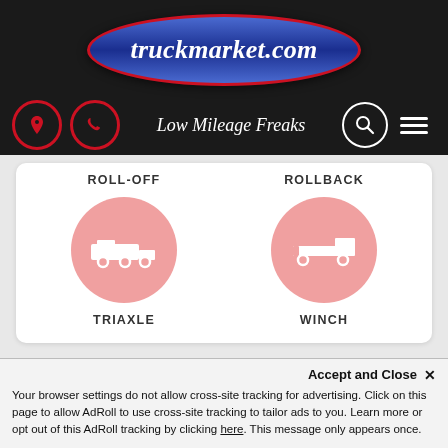truckmarket.com
Low Mileage Freaks
ROLL-OFF
ROLLBACK
[Figure (illustration): Pink circle icon with white roll-off truck silhouette]
[Figure (illustration): Pink circle icon with white rollback truck silhouette]
TRIAXLE
WINCH
MANUFACTURER
Accept and Close ✕
Your browser settings do not allow cross-site tracking for advertising. Click on this page to allow AdRoll to use cross-site tracking to tailor ads to you. Learn more or opt out of this AdRoll tracking by clicking here. This message only appears once.